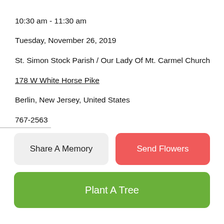10:30 am - 11:30 am
Tuesday, November 26, 2019
St. Simon Stock Parish / Our Lady Of Mt. Carmel Church
178 W White Horse Pike
Berlin, New Jersey, United States
767-2563
Directions?
Map | Text Directions | Email Directions
[Figure (screenshot): Social media share buttons panel: Facebook (blue), Twitter (light blue), LinkedIn (dark blue), overlaid on left side of page]
nd Flowers For Thomas Brennan, Sr.
Share A Memory
Send Flowers
Plant A Tree